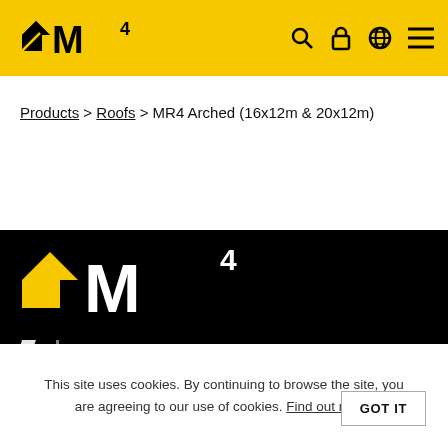Area Four Industries - MR4 Arched (16x12m & 20x12m)
Products > Roofs > MR4 Arched (16x12m & 20x12m)
[Figure (logo): AM4 logo in white on black background with Area Four Industries branding]
This site uses cookies. By continuing to browse the site, you are agreeing to our use of cookies. Find out more. GOT IT